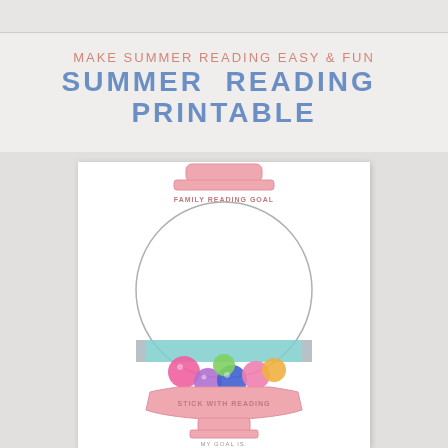MAKE SUMMER READING EASY & FUN
SUMMER READING PRINTABLE
[Figure (illustration): A gumball machine printable showing a large circular globe with colorful gumballs at the bottom. Text reads FAMILY READING GOAL at the top of the globe and STICK WITH READING at the base. MY GOAL IS: 20 written at the bottom. The machine is pink/rose colored with a teal/mint colored strip across the middle. Colorful gumballs include pink, purple, blue, green, and orange.]